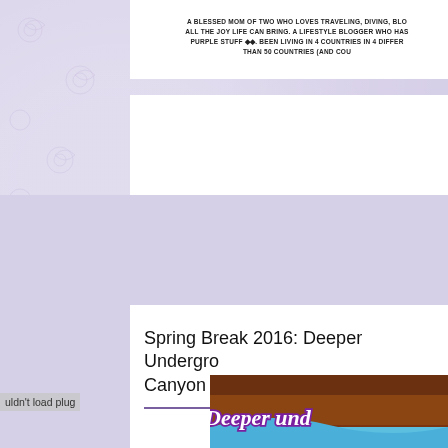A BLESSED MOM OF TWO WHO LOVES TRAVELING, DIVING, BLO... ALL THE JOY LIFE CAN BRING. A LIFESTYLE BLOGGER WHO HAS PURPLE STUFF ◆◆. BEEN LIVING IN 4 COUNTRIES IN 4 DIFFER... THAN 50 COUNTRIES (AND COU...
Spring Break 2016: Deeper Undergro... Canyon ...
[Figure (photo): An image showing a canyon with decorative cursive text overlay reading 'Deeper und...' in white with purple outline, against reddish-brown rock walls and blue sky/water. A plugin error message 'uldn't load plug' appears in the lower-left corner of the image area.]